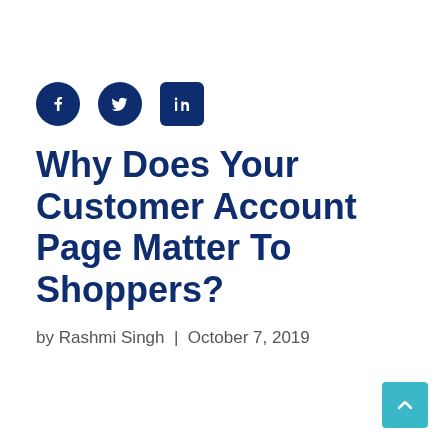[Figure (infographic): Social share icons: Facebook (circle), Twitter (circle), LinkedIn (square), all in dark navy blue]
Why Does Your Customer Account Page Matter To Shoppers?
by Rashmi Singh  |  October 7, 2019
[Figure (other): Teal/cyan scroll-to-top button with upward chevron arrow, bottom right corner]